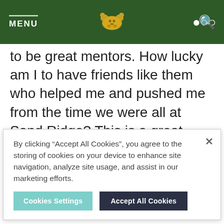MENU
to be great mentors. How lucky am I to have friends like them who helped me and pushed me from the time we were all at Sand Ridge? This is a great opportunity and I can't wait to get
By clicking “Accept All Cookies”, you agree to the storing of cookies on your device to enhance site navigation, analyze site usage, and assist in our marketing efforts.